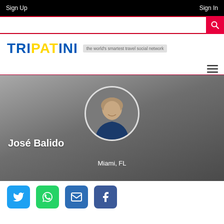Sign Up | Sign In
[Figure (screenshot): Tripatini website screenshot with search bar, logo, profile banner for José Balido from Miami FL, and social share buttons]
TRIPATINI - the world's smartest travel social network
José Balido
Miami, FL